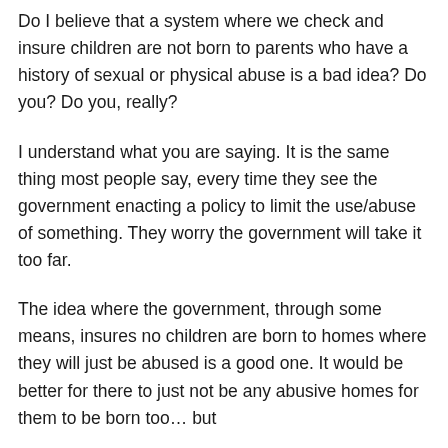Do I believe that a system where we check and insure children are not born to parents who have a history of sexual or physical abuse is a bad idea? Do you? Do you, really?
I understand what you are saying. It is the same thing most people say, every time they see the government enacting a policy to limit the use/abuse of something. They worry the government will take it too far.
The idea where the government, through some means, insures no children are born to homes where they will just be abused is a good one. It would be better for there to just not be any abusive homes for them to be born too… but